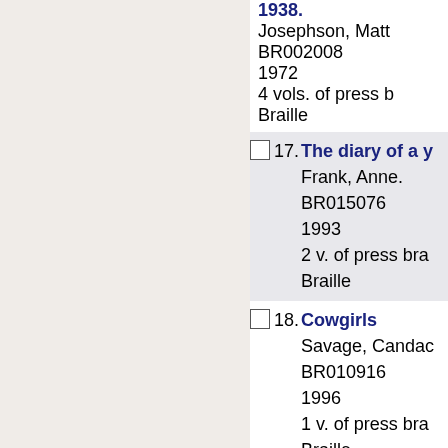1938. Josephson, Matt. BR002008 1972 4 vols. of press b Braille
17. The diary of a y Frank, Anne. BR015076 1993 2 v. of press bra Braille
18. Cowgirls Savage, Candac BR010916 1996 1 v. of press bra Braille
19. Robert E. Lee Rdford, Ruby